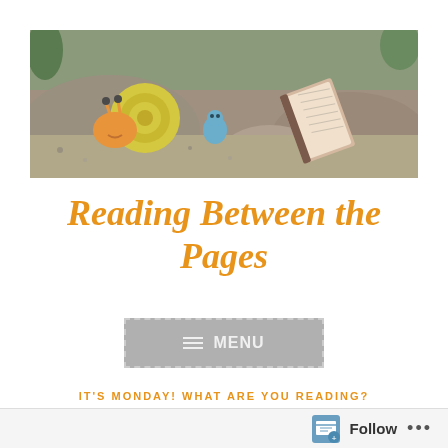[Figure (photo): Header photo showing a decorative snail figurine (green and orange shell) sitting on rocks next to an open book leaning against a large boulder, with gravel and foliage in background.]
Reading Between the Pages
MENU
IT'S MONDAY! WHAT ARE YOU READING?
Follow ...